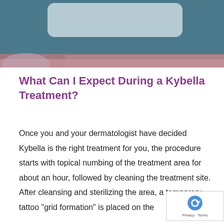[Figure (photo): Header image with teal/blue background and a light-colored rounded rectangle in the center, with a mauve/dusty rose horizontal band at the bottom and a faint circular element at the bottom left.]
What Can I Expect During a Kybella Treatment?
Once you and your dermatologist have decided Kybella is the right treatment for you, the procedure starts with topical numbing of the treatment area for about an hour, followed by cleaning the treatment site. After cleansing and sterilizing the area, a temporary tattoo "grid formation" is placed on the